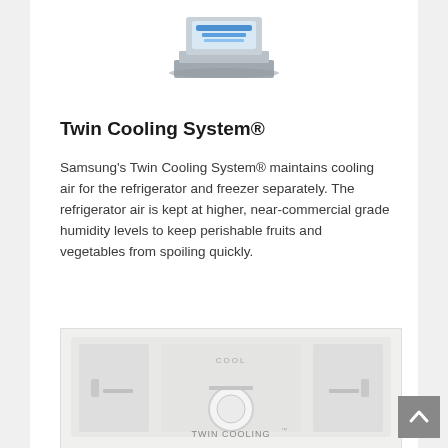[Figure (photo): Illustration of a refrigerator/freezer unit showing the Twin Cooling System with blue cooling elements, partially cropped at top]
Twin Cooling System®
Samsung's Twin Cooling System® maintains cooling air for the refrigerator and freezer separately. The refrigerator air is kept at higher, near-commercial grade humidity levels to keep perishable fruits and vegetables from spoiling quickly.
[Figure (photo): Close-up photo of the Twin Cooling System component, a white mechanical assembly with TWIN COOLING label visible]